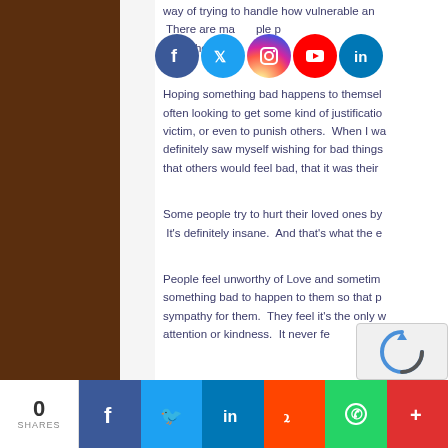way of trying to handle how vulnerable and...
There are many... people... and others.
[Figure (infographic): Social media share icons overlay: Facebook, Twitter, Instagram, YouTube, LinkedIn circular icons]
Hoping something bad happens to themselves — often looking to get some kind of justification... victim, or even to punish others. When I was... definitely saw myself wishing for bad things... that others would feel bad, that it was their...
Some people try to hurt their loved ones by... It's definitely insane. And that's what the e...
People feel unworthy of Love and sometime... something bad to happen to them so that p... sympathy for them. They feel it's the only w... attention or kindness. It never fe...
[Figure (infographic): Social share bottom bar with 0 SHARES count, Facebook, Twitter, LinkedIn, Reddit, WhatsApp, and More (+) buttons]
[Figure (other): reCAPTCHA logo overlay in bottom right corner]